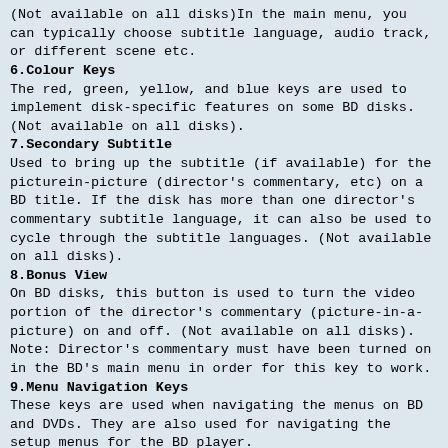(Not available on all disks)In the main menu, you can typically choose subtitle language, audio track, or different scene etc.
6.Colour Keys
The red, green, yellow, and blue keys are used to implement disk-specific features on some BD disks. (Not available on all disks).
7.Secondary Subtitle
Used to bring up the subtitle (if available) for the picturein-picture (director's commentary, etc) on a BD title. If the disk has more than one director's commentary subtitle language, it can also be used to cycle through the subtitle languages. (Not available on all disks).
8.Bonus View
On BD disks, this button is used to turn the video portion of the director's commentary (picture-in-a-picture) on and off. (Not available on all disks).
Note: Director's commentary must have been turned on in the BD's main menu in order for this key to work.
9.Menu Navigation Keys
These keys are used when navigating the menus on BD and DVDs. They are also used for navigating the setup menus for the BD player.
10.DISPLAY
Press this button to show current play status and time information.
11.SLOW
Pressing this button will cause the video to be